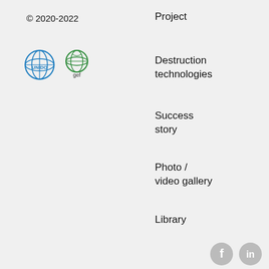© 2020-2022
[Figure (logo): UNIDO and GEF logos side by side]
Project
Destruction technologies
Success story
Photo / video gallery
Library
Events
News
Contacts
Content use policy
Sitemap
[Figure (logo): Facebook and LinkedIn social media icons]